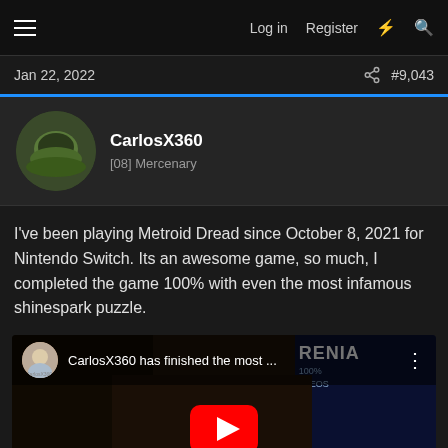≡   Log in   Register   ⚡   🔍
Jan 22, 2022   🔗   #9,043
CarlosX360
[08] Mercenary
I've been playing Metroid Dread since October 8, 2021 for Nintendo Switch. Its an awesome game, so much, I completed the game 100% with even the most infamous shinespark puzzle.
[Figure (screenshot): YouTube video embed showing CarlosX360 has finished the most ... with a red YouTube play button overlay on a dark video thumbnail]